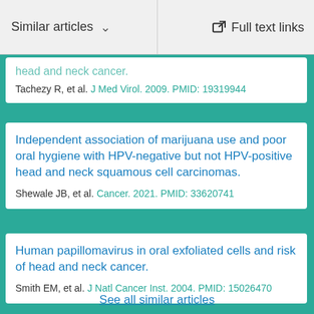Similar articles | Full text links
head and neck cancer. Tachezy R, et al. J Med Virol. 2009. PMID: 19319944
Independent association of marijuana use and poor oral hygiene with HPV-negative but not HPV-positive head and neck squamous cell carcinomas. Shewale JB, et al. Cancer. 2021. PMID: 33620741
Human papillomavirus in oral exfoliated cells and risk of head and neck cancer. Smith EM, et al. J Natl Cancer Inst. 2004. PMID: 15026470
See all similar articles